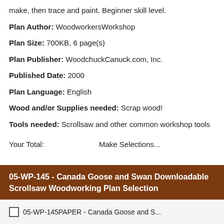make, then trace and paint. Beginner skill level.
Plan Author: WoodworkersWorkshop
Plan Size: 700KB, 6 page(s)
Plan Publisher: WoodchuckCanuck.com, Inc.
Published Date: 2000
Plan Language: English
Wood and/or Supplies needed: Scrap wood!
Tools needed: Scrollsaw and other common workshop tools
Your Total:   Make Selections...
05-WP-145 - Canada Goose and Swan Downloadable Scrollsaw Woodworking Plan Selection
05-WP-145PAPER - Canada Goose and S...